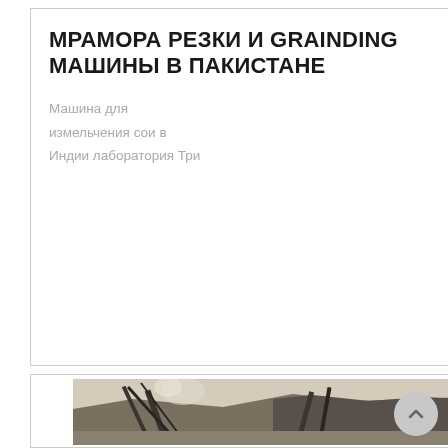МРАМОРА РЕЗКИ И GRAINDING МАШИНЫ В ПАКИСТАНЕ
Машина для измельчения сои в Индии лаборатория Три
[Figure (photo): Industrial mining/quarrying equipment with conveyor belts against a mountainous background with hazy sky]